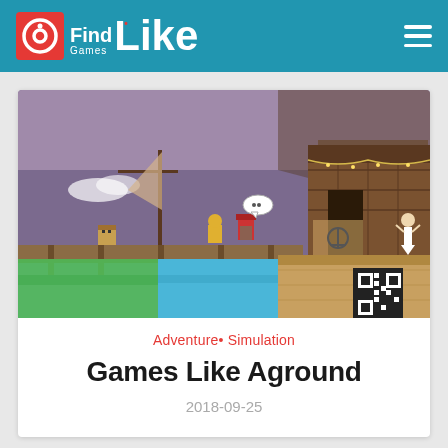FindGamesLike
[Figure (screenshot): Pixel art 2D platformer game screenshot showing characters on a dock/pier over water, with wooden buildings, purple sky, and sandy terrain. A character with a speech bubble is visible center-right, and a dancing figure on the far right.]
Adventure• Simulation
Games Like Aground
2018-09-25